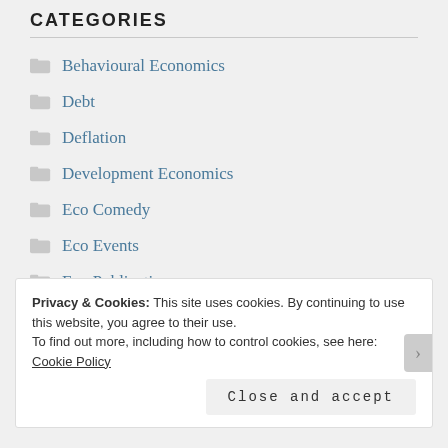CATEGORIES
Behavioural Economics
Debt
Deflation
Development Economics
Eco Comedy
Eco Events
Eco Publications
Economic Cycle
Privacy & Cookies: This site uses cookies. By continuing to use this website, you agree to their use.
To find out more, including how to control cookies, see here: Cookie Policy
Close and accept